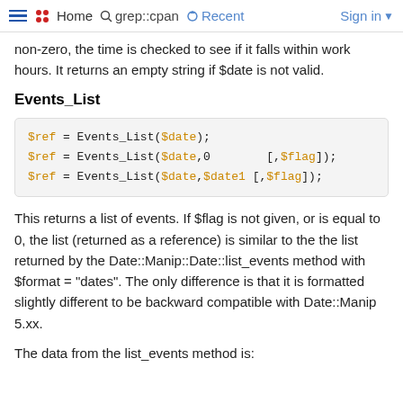Home   grep::cpan   Recent   Sign in
non-zero, the time is checked to see if it falls within work hours. It returns an empty string if $date is not valid.
Events_List
This returns a list of events. If $flag is not given, or is equal to 0, the list (returned as a reference) is similar to the the list returned by the Date::Manip::Date::list_events method with $format = "dates". The only difference is that it is formatted slightly different to be backward compatible with Date::Manip 5.xx.
The data from the list_events method is: